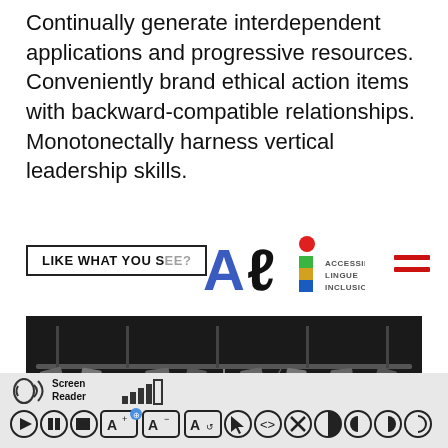Continually generate interdependent applications and progressive resources. Conveniently brand ethical action items with backward-compatible relationships. Monotonectally harness vertical leadership skills.
[Figure (logo): ALI logo - Accessibilità Lingue Inclusione with colorful letters and text]
LIKE WHAT YOU S[EE?]
[Figure (photo): Black and white photo of stage/studio lighting rig from below]
[Figure (screenshot): Accessibility toolbar with Screen Reader icon and controls including play, pause, stop, font size, contrast buttons]